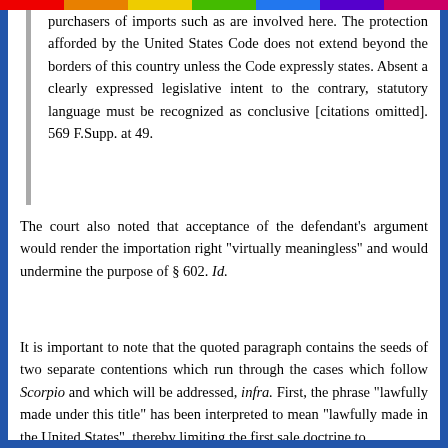purchasers of imports such as are involved here. The protection afforded by the United States Code does not extend beyond the borders of this country unless the Code expressly states. Absent a clearly expressed legislative intent to the contrary, statutory language must be recognized as conclusive [citations omitted]. 569 F.Supp. at 49.
The court also noted that acceptance of the defendant's argument would render the importation right "virtually meaningless" and would undermine the purpose of § 602. Id.
It is important to note that the quoted paragraph contains the seeds of two separate contentions which run through the cases which follow Scorpio and which will be addressed, infra. First, the phrase "lawfully made under this title" has been interpreted to mean "lawfully made in the United States", thereby limiting the first sale doctrine to